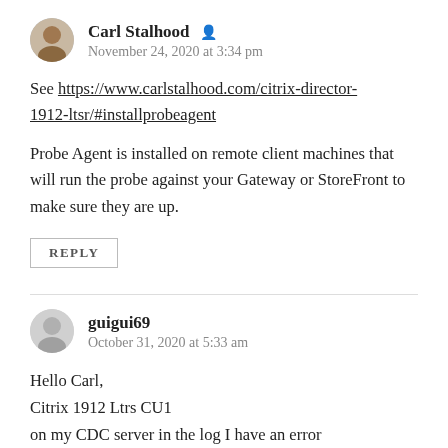Carl Stalhood
November 24, 2020 at 3:34 pm
See https://www.carlstalhood.com/citrix-director-1912-ltsr/#installprobeagent
Probe Agent is installed on remote client machines that will run the probe against your Gateway or StoreFront to make sure they are up.
REPLY
guigui69
October 31, 2020 at 5:33 am
Hello Carl,
Citrix 1912 Ltrs CU1
on my CDC server in the log I have an error